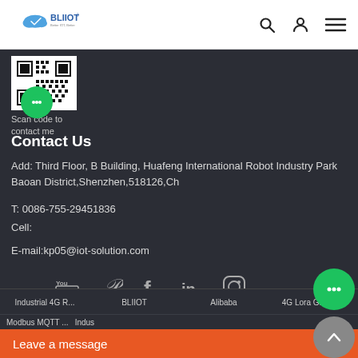[Figure (logo): BLIIOT company logo with cloud icon and tagline]
[Figure (other): Search, user, and hamburger menu icons in header]
[Figure (other): QR code image for contact]
Scan code to contact me
Contact Us
Add: Third Floor, B Building, Huafeng International Robot Industry Park Baoan District,Shenzhen,518126,Ch
T: 0086-755-29451836
Cell:
E-mail:kp05@iot-solution.com
[Figure (other): Social media icons: YouTube, Pinterest, Facebook, LinkedIn, Instagram]
[Figure (other): Green chat bubble button (floating)]
[Figure (other): Gray back-to-top arrow button]
Industrial 4G R...   BLIIOT   Alibaba   4G Lora Gateway
Modbus MQTT ...   Indus
Leave a message